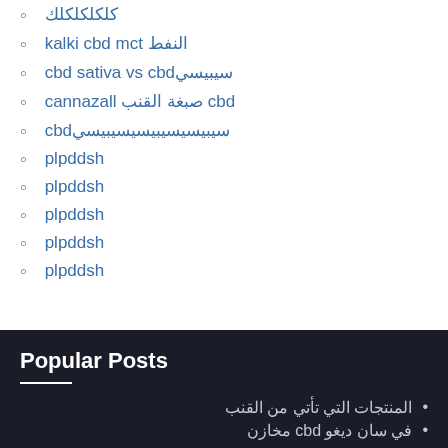كلكلكلكلكلكلكل
kalki cbd mct النفط
cbd sativa vs cbdسيبيسي
cannazall صبغة القنب cbd
cbdسيبيسيسيبيسيسيبيسي
plpddsh
plpddsh
plpddsh
plpddsh
plpddsh
Popular Posts
المنتجات التي تأتي من القنب
في سان ديغو cbd مخازن